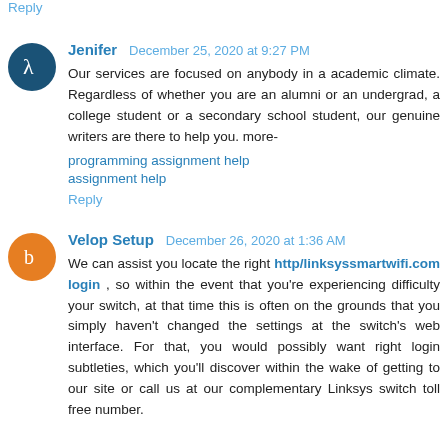Reply
Jenifer  December 25, 2020 at 9:27 PM
Our services are focused on anybody in a academic climate. Regardless of whether you are an alumni or an undergrad, a college student or a secondary school student, our genuine writers are there to help you. more-
programming assignment help
assignment help
Reply
Velop Setup  December 26, 2020 at 1:36 AM
We can assist you locate the right http/linksyssmartwifi.com login , so within the event that you're experiencing difficulty your switch, at that time this is often on the grounds that you simply haven't changed the settings at the switch's web interface. For that, you would possibly want right login subtleties, which you'll discover within the wake of getting to our site or call us at our complementary Linksys switch toll free number.